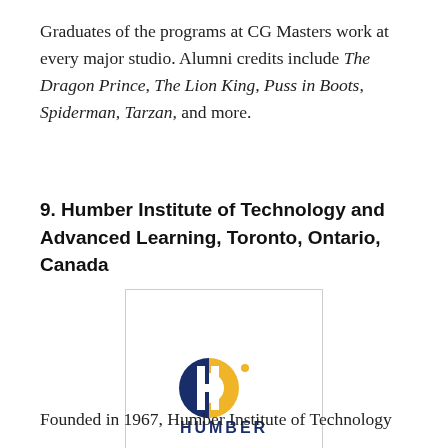Graduates of the programs at CG Masters work at every major studio. Alumni credits include The Dragon Prince, The Lion King, Puss in Boots, Spiderman, Tarzan, and more.
9. Humber Institute of Technology and Advanced Learning, Toronto, Ontario, Canada
[Figure (logo): Humber Institute of Technology and Advanced Learning logo: a circular navy blue 'H' monogram with a gold accent and a small dot, above the word HUMBER in navy blue capitals]
Founded in 1967, Humber Institute of Technology